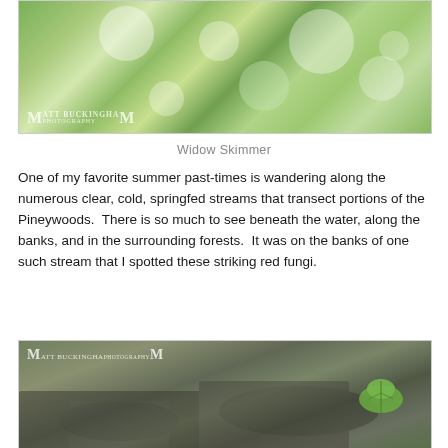[Figure (photo): Nature photograph of a dragonfly (Widow Skimmer) with bokeh green background, watermark 'Matt Buckingham Photography' visible in lower left]
Widow Skimmer
One of my favorite summer past-times is wandering along the numerous clear, cold, springfed streams that transect portions of the Pineywoods.  There is so much to see beneath the water, along the banks, and in the surrounding forests.  It was on the banks of one such stream that I spotted these striking red fungi.
[Figure (photo): Nature photograph of forest stream bank with rocks, roots, and green foliage, watermark 'Matt Buckingham Photography' visible in upper left]